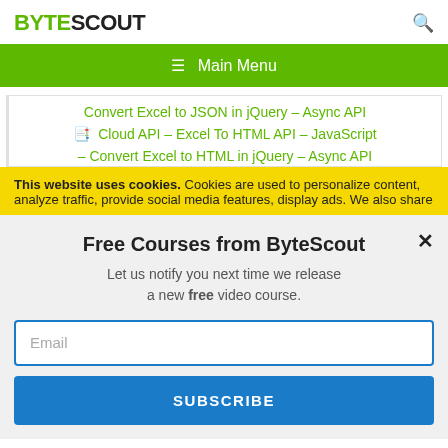[Figure (logo): ByteScout logo — BYTE in green bold, SCOUT in black bold]
[Figure (screenshot): Green main menu navigation bar with hamburger icon]
Convert Excel to JSON in jQuery – Async API
Cloud API – Excel To HTML API – JavaScript
Convert Excel to HTML in jQuery – Async API (partial, cut off)
This website uses cookies. Cookies are used to personalize content, analyze traffic, provide social media features, display ads. We also share
Free Courses from ByteScout
Let us notify you next time we release a new free video course.
Email
SUBSCRIBE